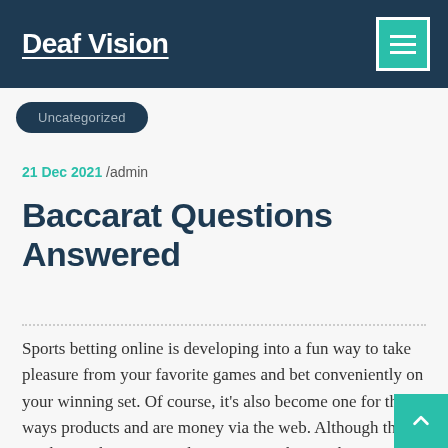Deaf Vision
Uncategorized
21 Dec 2021 /admin
Baccarat Questions Answered
Sports betting online is developing into a fun way to take pleasure from your favorite games and bet conveniently on your winning set. Of course, it's also become one for this ways products and are money via the web. Although this can be a risky moneymaking venture, this can however become a fun way to enjoy